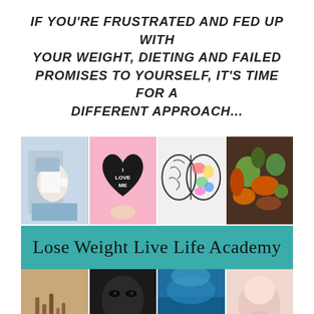IF YOU'RE FRUSTRATED AND FED UP WITH YOUR WEIGHT, DIETING AND FAILED PROMISES TO YOURSELF, IT'S TIME FOR A DIFFERENT APPROACH...
[Figure (photo): Collage of four images: person holding white mug, hand holding black heart with 'I LOVE ME' text on pink background, colorful illustrated brain, roasted vegetables. Below a teal banner reading 'Lose Weight Live Life Academy'. Bottom row of four more images: cinnamon sticks, dark dog eyes, blue water/sky, pink item.]